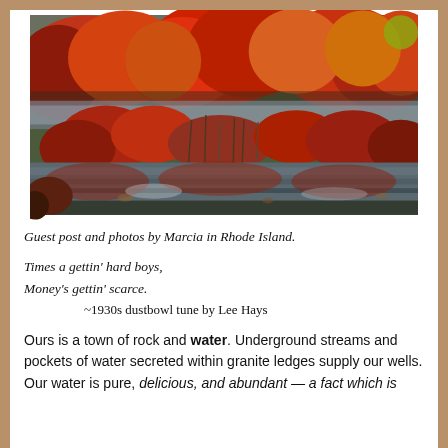[Figure (photo): Autumn foliage scene with vibrant red, orange, and yellow trees reflected in a misty pond or wetland area with reeds and marsh grasses in the foreground.]
Guest post and photos by Marcia in Rhode Island.
Times a gettin' hard boys,
Money's gettin' scarce.
    ~1930s dustbowl tune by Lee Hays
Ours is a town of rock and water. Underground streams and pockets of water secreted within granite ledges supply our wells. Our water is pure, delicious, and abundant — a fact which is